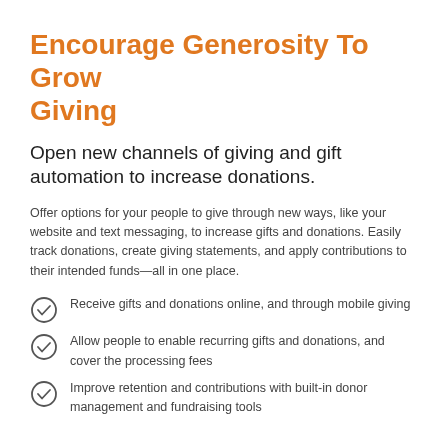Encourage Generosity To Grow Giving
Open new channels of giving and gift automation to increase donations.
Offer options for your people to give through new ways, like your website and text messaging, to increase gifts and donations. Easily track donations, create giving statements, and apply contributions to their intended funds—all in one place.
Receive gifts and donations online, and through mobile giving
Allow people to enable recurring gifts and donations, and cover the processing fees
Improve retention and contributions with built-in donor management and fundraising tools